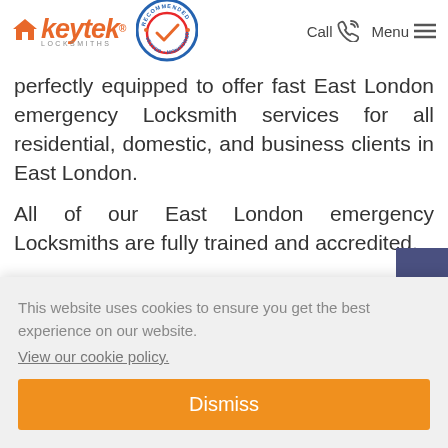[Figure (logo): Keytek Locksmiths logo with orange house icon and italic text, plus a blue/red circular 'Recommended Vetted Monitored' badge]
perfectly equipped to offer fast East London emergency Locksmith services for all residential, domestic, and business clients in East London.
All of our East London emergency Locksmiths are fully trained and accredited, …eive …don
This website uses cookies to ensure you get the best experience on our website.
View our cookie policy.
Dismiss